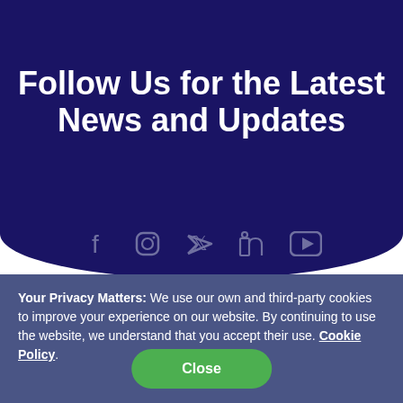Follow Us for the Latest News and Updates
[Figure (infographic): Social media icons: Facebook, Instagram, Twitter, LinkedIn, YouTube]
[Figure (logo): Partial colorful logo visible at bottom of dark section]
Your Privacy Matters: We use our own and third-party cookies to improve your experience on our website. By continuing to use the website, we understand that you accept their use. Cookie Policy.
Close